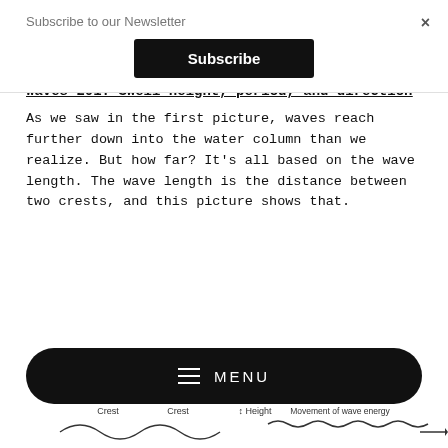Subscribe to our Newsletter
Subscribe
the bottom, which means it's stirring up more sediment and creating worse visibility.
Waves 201: Swell height, period, and direction
As we saw in the first picture, waves reach further down into the water column than we realize. But how far? It's all based on the wave length. The wave length is the distance between two crests, and this picture shows that.
[Figure (screenshot): Black rounded-rectangle menu bar with hamburger icon and MENU label in white text]
[Figure (illustration): Wave diagram showing Crest labels, Height indicator, and Movement of wave energy label at bottom of page]